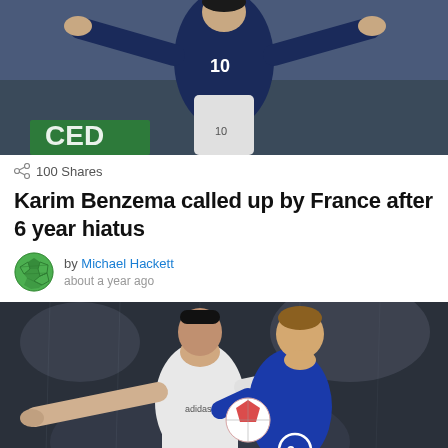[Figure (photo): Football player wearing dark blue jersey with number 10, arms spread wide, stadium background with green text]
100 Shares
Karim Benzema called up by France after 6 year hiatus
by Michael Hackett
about a year ago
[Figure (photo): Two football players competing for the ball — one in white Real Madrid kit with Adidas logo, one in blue Chelsea kit with number 3 sponsor logo, Champions League ball visible]